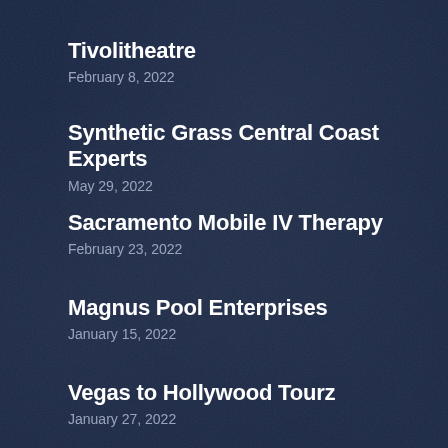Tivolitheatre
February 8, 2022
Synthetic Grass Central Coast Experts
May 29, 2022
Sacramento Mobile IV Therapy
February 23, 2022
Magnus Pool Enterprises
January 15, 2022
Vegas to Hollywood Tourz
January 27, 2022